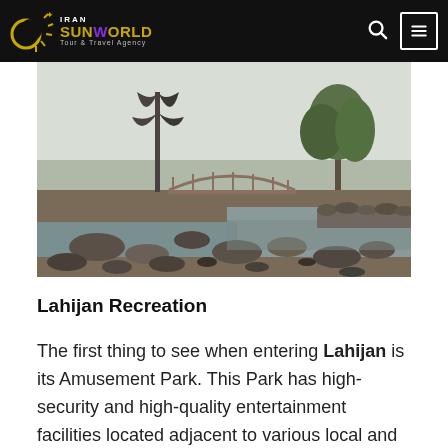Iran Sunworld Tour & Travel Agency
[Figure (photo): Outdoor park scene with a wooden arched bridge over a rocky stream or pond, surrounded by tall bare trees and lush green trees in the background, with a pale winter sky.]
Lahijan Recreation
The first thing to see when entering Lahijan is its Amusement Park. This Park has high-security and high-quality entertainment facilities located adjacent to various local and international cafes and restaurants.